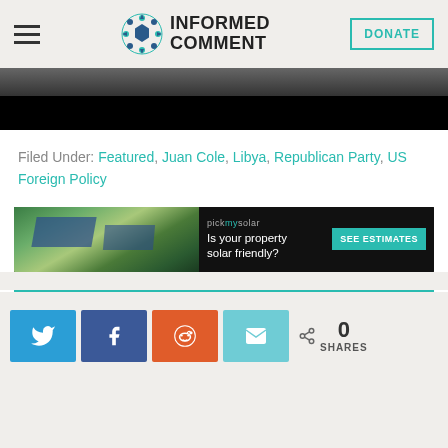INFORMED COMMENT
[Figure (photo): Partial view of a photo (top portion cut off), dark/black lower area visible]
Filed Under: Featured, Juan Cole, Libya, Republican Party, US Foreign Policy
[Figure (other): pickmysolar advertisement banner: aerial view of houses with solar panels, text 'Is your property solar friendly?' with 'SEE ESTIMATES' button]
[Figure (other): Social share buttons: Twitter, Facebook, Reddit, Email, and share count showing 0 SHARES]